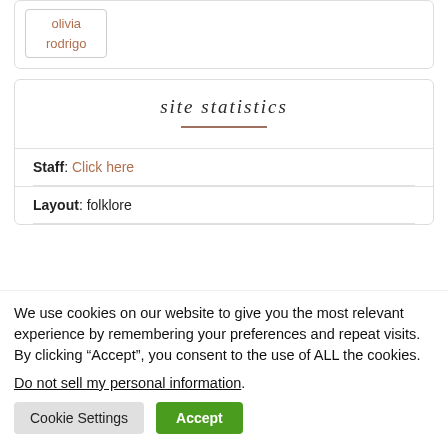olivia rodrigo
site statistics
Staff: Click here
Layout: folklore
We use cookies on our website to give you the most relevant experience by remembering your preferences and repeat visits. By clicking “Accept”, you consent to the use of ALL the cookies.
Do not sell my personal information.
Cookie Settings  Accept